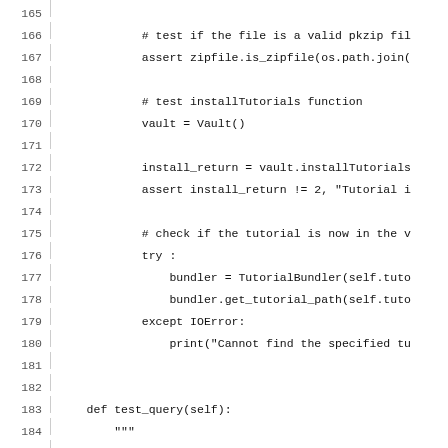Code listing lines 165-194 showing Python test methods including test for zipfile validity, installTutorials function, and test_query function with docstring and vault query.